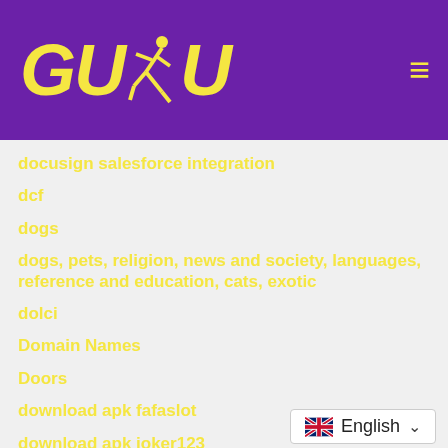[Figure (logo): GUDU logo with yellow text and running figure on purple background, with hamburger menu icon]
docusign salesforce integration
dcf
dogs
dogs, pets, religion, news and society, languages, reference and education, cats, exotic
dolci
Domain Names
Doors
download apk fafaslot
download apk joker123
download apk vivoslot
download aplikasi fafaslot